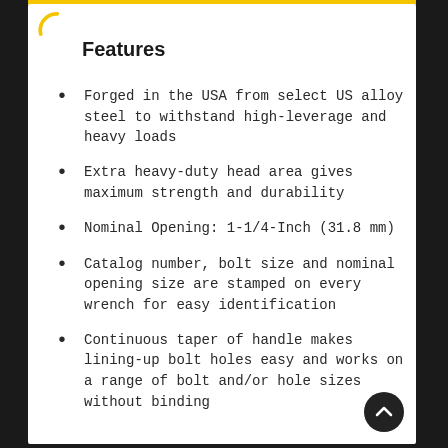Features
Forged in the USA from select US alloy steel to withstand high-leverage and heavy loads
Extra heavy-duty head area gives maximum strength and durability
Nominal Opening: 1-1/4-Inch (31.8 mm)
Catalog number, bolt size and nominal opening size are stamped on every wrench for easy identification
Continuous taper of handle makes lining-up bolt holes easy and works on a range of bolt and/or hole sizes without binding